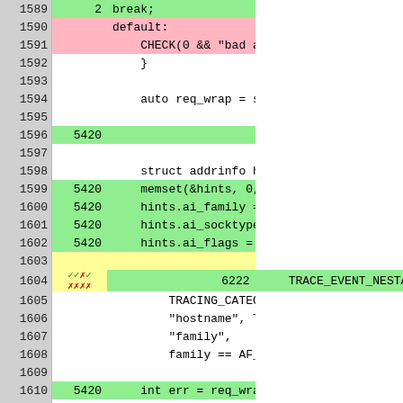[Figure (screenshot): Code diff viewer showing lines 1589-1613 with line numbers, execution counts, code content, and green/pink/yellow background highlights indicating added/removed/modified lines. Contains a TRACE_EVENT_NESTABLE_ASYNC_BEGIN2 call and struct addrinfo hints initialization.]